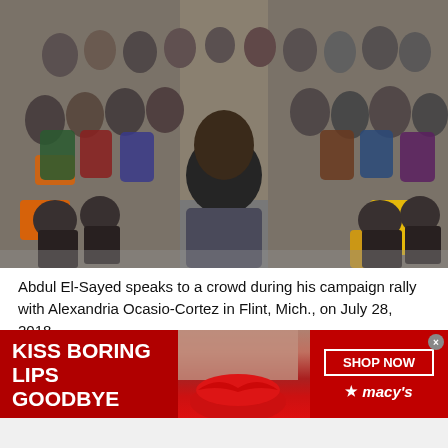[Figure (photo): Abdul El-Sayed speaking to a crowd at a campaign rally. Speaker seen from behind facing a large seated and standing audience in an indoor venue with orange and yellow chairs visible.]
Abdul El-Sayed speaks to a crowd during his campaign rally with Alexandria Ocasio-Cortez in Flint, Mich., on July 28, 2018.
Photo: Rachel Woolf for The Intercept
[Figure (photo): Macy's advertisement banner: KISS BORING LIPS GOODBYE with a close-up of red lips and SHOP NOW button with Macy's star logo]